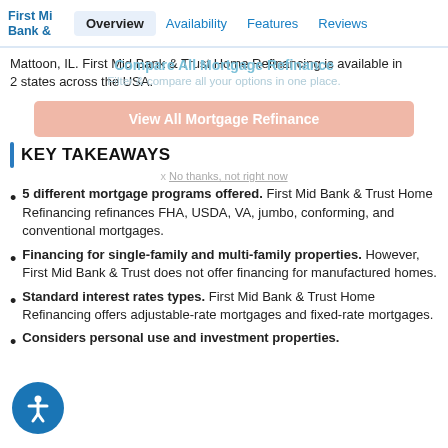First Mid Bank & Trust | Overview | Availability | Features | Reviews
Mattoon, IL. First Mid Bank & Trust Home Refinancing is available in 2 states across the USA.
Compare All Mortgage Refinance
Filter & compare all your options in one place.
View All Mortgage Refinance
KEY TAKEAWAYS
x No thanks, not right now
5 different mortgage programs offered. First Mid Bank & Trust Home Refinancing refinances FHA, USDA, VA, jumbo, conforming, and conventional mortgages.
Financing for single-family and multi-family properties. However, First Mid Bank & Trust does not offer financing for manufactured homes.
Standard interest rates types. First Mid Bank & Trust Home Refinancing offers adjustable-rate mortgages and fixed-rate mortgages.
Considers personal use and investment properties.